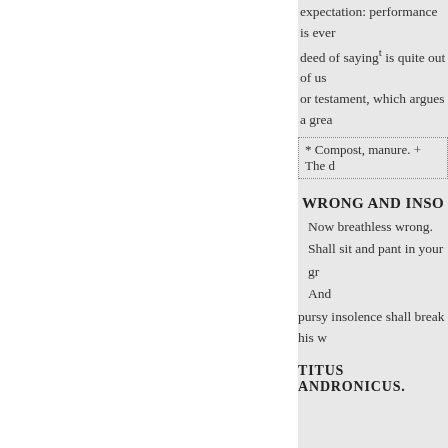expectation: performance is ever deed of sayingt is quite out of us or testament, which argues a grea
* Compost, manure. + The d
WRONG AND INSO
Now breathless wrong.
Shall sit and pant in your gr
And
pursy insolence shall break his w
TITUS ANDRONICUS.
Wilt thou draw near the nat
Draw near them then in bei
Sweet mercy is nobility's tr